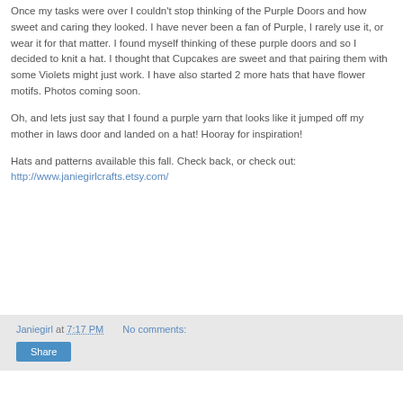Once my tasks were over I couldn't stop thinking of the Purple Doors and how sweet and caring they looked. I have never been a fan of Purple, I rarely use it, or wear it for that matter. I found myself thinking of these purple doors and so I decided to knit a hat. I thought that Cupcakes are sweet and that pairing them with some Violets might just work. I have also started 2 more hats that have flower motifs. Photos coming soon.

Oh, and lets just say that I found a purple yarn that looks like it jumped off my mother in laws door and landed on a hat! Hooray for inspiration!

Hats and patterns available this fall. Check back, or check out: http://www.janiegirlcrafts.etsy.com/
Janiegirl at 7:17 PM   No comments:   Share